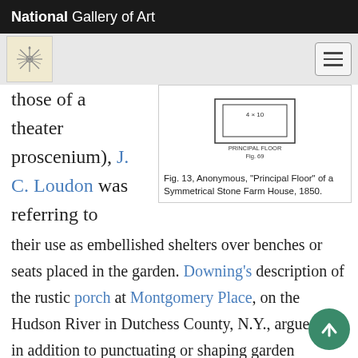National Gallery of Art
[Figure (screenshot): Navigation bar with NGA logo and hamburger menu button]
those of a theater proscenium), J. C. Loudon was referring to
[Figure (illustration): Architectural floor plan diagram labeled 'PRINCIPAL FLOOR Fig. 69' with room dimensions 4x10]
Fig. 13, Anonymous, "Principal Floor" of a Symmetrical Stone Farm House, 1850.
their use as embellished shelters over benches or seats placed in the garden. Downing's description of the rustic porch at Montgomery Place, on the Hudson River in Dutchess County, N.Y., argues that in addition to punctuating or shaping garden scenery, as Loudon recommended, porches, if appropriately placed and decorated, offered a way to situate a seat in the landscape thereby directing a view or prospect [Fig. 12].